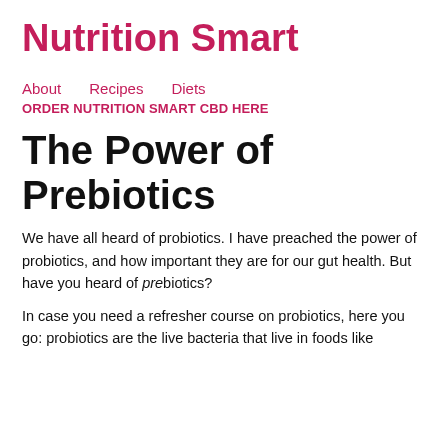Nutrition Smart
About   Recipes   Diets
ORDER NUTRITION SMART CBD HERE
The Power of Prebiotics
We have all heard of probiotics. I have preached the power of probiotics, and how important they are for our gut health. But have you heard of prebiotics?
In case you need a refresher course on probiotics, here you go: probiotics are the live bacteria that live in foods like